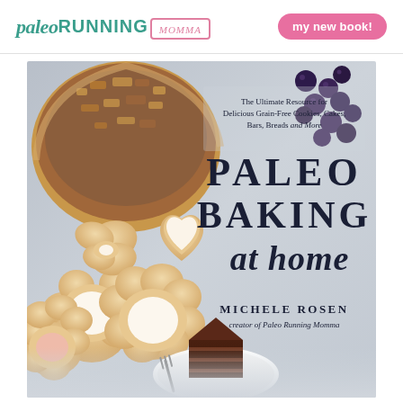paleo RUNNING MOMMA | my new book!
[Figure (photo): Book cover of 'Paleo Baking at Home' by Michele Rosen, creator of Paleo Running Momma. The cover shows decorated sugar cookies in flower and heart shapes, a fruit and nut pie, blueberries, and a slice of chocolate cake on a light gray background. Text on cover reads: The Ultimate Resource for Delicious Grain-Free Cookies, Cakes, Bars, Breads and More. PALEO BAKING at home. MICHELE ROSEN creator of Paleo Running Momma.]